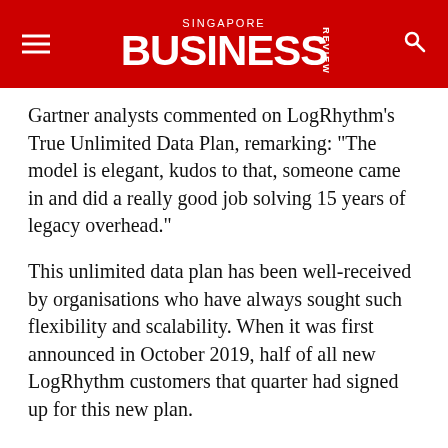Singapore Business Review
Gartner analysts commented on LogRhythm's True Unlimited Data Plan, remarking: “The model is elegant, kudos to that, someone came in and did a really good job solving 15 years of legacy overhead.”
This unlimited data plan has been well-received by organisations who have always sought such flexibility and scalability. When it was first announced in October 2019, half of all new LogRhythm customers that quarter had signed up for this new plan.
Ultimately, LogRhythm continues to demonstrate its commitment to their customers’ security journeys and deliver value through innovative solutions and products. Customers can rely on them